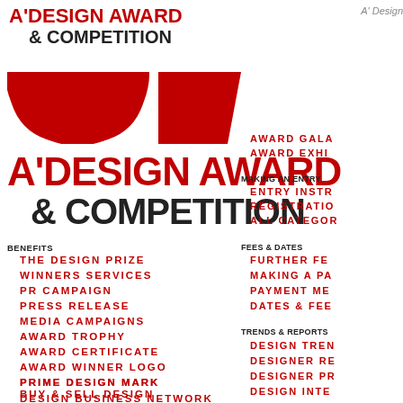A'DESIGN AWARD & COMPETITION
[Figure (logo): A'Design Award & Competition logo with red semicircle and red trapezoid shapes]
A'DESIGN AWARD & COMPETITION
BENEFITS
THE DESIGN PRIZE
WINNERS SERVICES
PR CAMPAIGN
PRESS RELEASE
MEDIA CAMPAIGNS
AWARD TROPHY
AWARD CERTIFICATE
AWARD WINNER LOGO
PRIME DESIGN MARK
BUY & SELL DESIGN
DESIGN BUSINESS NETWORK
A' Design
AWARD GALA
AWARD EXHI
MAKING AN ENTRY
ENTRY INSTR
REGISTRATIO
ALL CATEGOR
FEES & DATES
FURTHER FE
MAKING A PA
PAYMENT ME
DATES & FEE
TRENDS & REPORTS
DESIGN TREN
DESIGNER RE
DESIGNER PR
DESIGN INTE